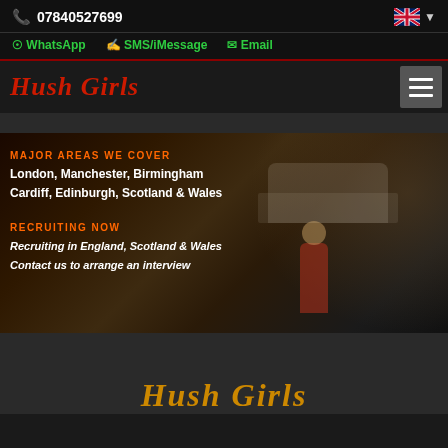07840527699
WhatsApp  SMS/iMessage  Email
Hush Girls
[Figure (photo): Hero banner image showing an interior room with a white sofa, decorative rug, and a person in a red outfit. Text overlaid on left side.]
MAJOR AREAS WE COVER
London, Manchester, Birmingham
Cardiff, Edinburgh, Scotland & Wales
RECRUITING NOW
Recruiting in England, Scotland & Wales
Contact us to arrange an interview
Hush Girls